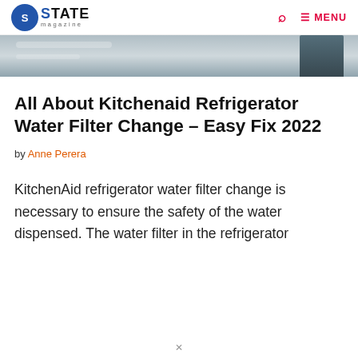STATE Magazine — MENU
[Figure (photo): Partial hero image of a KitchenAid refrigerator, silver/stainless, cropped at top edge]
All About Kitchenaid Refrigerator Water Filter Change – Easy Fix 2022
by Anne Perera
KitchenAid refrigerator water filter change is necessary to ensure the safety of the water dispensed. The water filter in the refrigerator